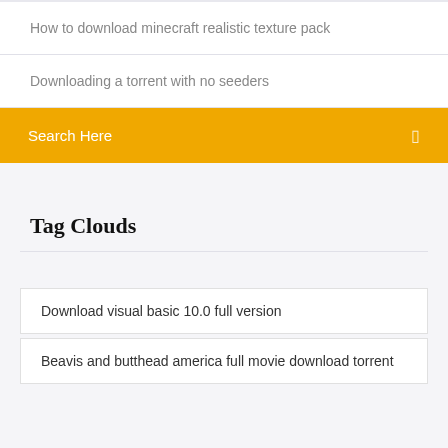How to download minecraft realistic texture pack
Downloading a torrent with no seeders
Search Here
Tag Clouds
Download visual basic 10.0 full version
Beavis and butthead america full movie download torrent